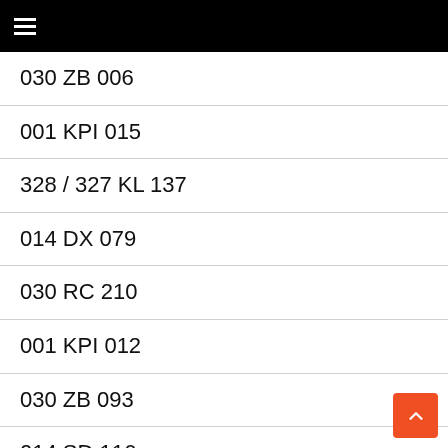☰
030 ZB 006
001 KPI 015
328 / 327 KL 137
014 DX 079
030 RC 210
001 KPI 012
030 ZB 093
014 SD 116
014 AT 300